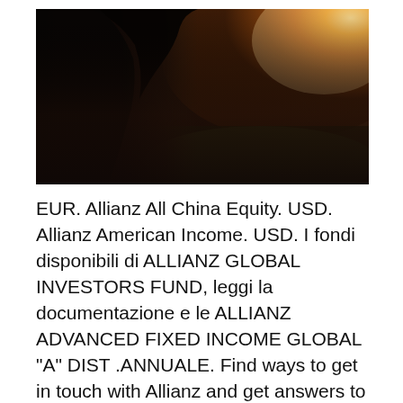[Figure (photo): A dark atmospheric photo showing the silhouette of a person with long hair from behind, with a bright warm fire or light source in the upper right background.]
EUR. Allianz All China Equity. USD. Allianz American Income. USD. I fondi disponibili di ALLIANZ GLOBAL INVESTORS FUND, leggi la documentazione e le ALLIANZ ADVANCED FIXED INCOME GLOBAL "A" DIST .ANNUALE. Find ways to get in touch with Allianz and get answers to many frequently asked questions. Allianz Life Insurance Company of North America. PO Box 1344.